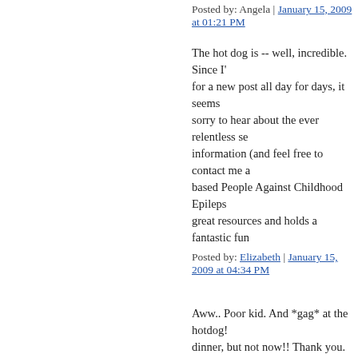Posted by: Angela | January 15, 2009 at 01:21 PM
The hot dog is -- well, incredible. Since I've been waiting for a new post all day for days, it seems … sorry to hear about the ever relentless se… information (and feel free to contact me a… based People Against Childhood Epileps… great resources and holds a fantastic fun…
Posted by: Elizabeth | January 15, 2009 at 04:34 PM
Aww.. Poor kid. And *gag* at the hotdog!… dinner, but not now!! Thank you.
Sounds like your house motto is "When h… people!!" LOL
Posted by: Chris | January 15, 2009 at 04:50 PM
Kathryn is fantastic! She sounds like she… Can I adopt her? Not as my child of cour… niece. She'd be really cool to have as a n… Would you ask her???
Posted by: Laura | January 15, 2009 at 04:59 PM